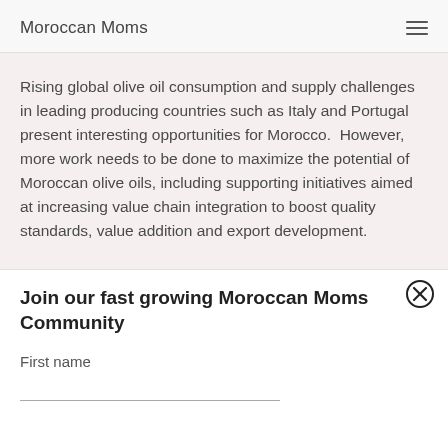Moroccan Moms
Rising global olive oil consumption and supply challenges in leading producing countries such as Italy and Portugal present interesting opportunities for Morocco.  However, more work needs to be done to maximize the potential of Moroccan olive oils, including supporting initiatives aimed at increasing value chain integration to boost quality standards, value addition and export development.
Join our fast growing Moroccan Moms Community
First name